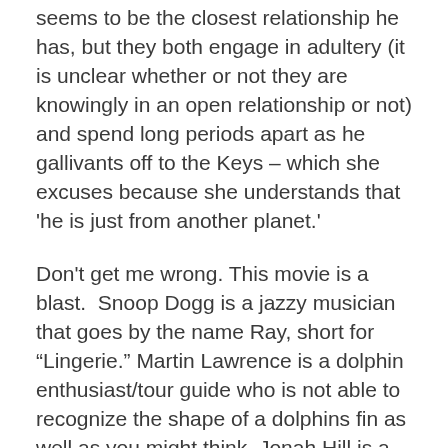seems to be the closest relationship he has, but they both engage in adultery (it is unclear whether or not they are knowingly in an open relationship or not) and spend long periods apart as he gallivants off to the Keys – which she excuses because she understands that 'he is just from another planet.'
Don't get me wrong. This movie is a blast. Snoop Dogg is a jazzy musician that goes by the name Ray, short for "Lingerie." Martin Lawrence is a dolphin enthusiast/tour guide who is not able to recognize the shape of a dolphins fin as well as you might think. Jonah Hill is a drawling Southern publisher. Zac Efron is a "hardcore" Christian rocker he meets in rehab. This film is exactly what you would expect – a stoner hit from the maker of Spring Breakers. Though, it drags a bit with its continual repetitive